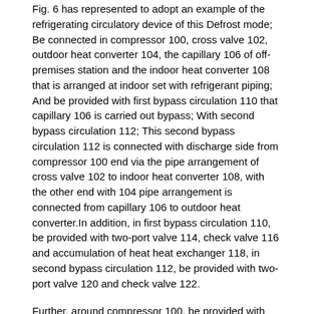Fig. 6 has represented to adopt an example of the refrigerating circulatory device of this Defrost mode; Be connected in compressor 100, cross valve 102, outdoor heat converter 104, the capillary 106 of off-premises station and the indoor heat converter 108 that is arranged at indoor set with refrigerant piping; And be provided with first bypass circulation 110 that capillary 106 is carried out bypass; With second bypass circulation 112; This second bypass circulation 112 is connected with discharge side from compressor 100 end via the pipe arrangement of cross valve 102 to indoor heat converter 108, with the other end with 104 pipe arrangement is connected from capillary 106 to outdoor heat converter.In addition, in first bypass circulation 110, be provided with two-port valve 114, check valve 116 and accumulation of heat heat exchanger 118, in second bypass circulation 112, be provided with two-port valve 120 and check valve 122.
Further, around compressor 100, be provided with heat storage tank 124, be filled with the latent-heat storage material 126 that is used for carrying out heat exchange in the inside of heat storage tank 124 with accumulation of heat heat exchanger 118.